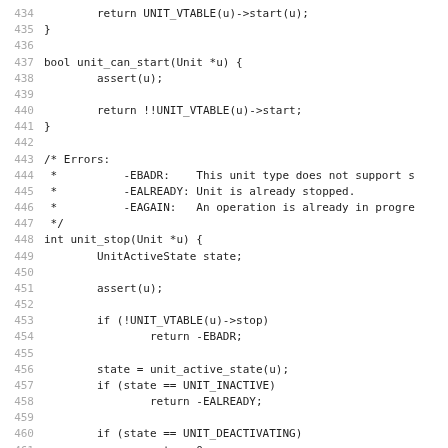[Figure (other): Source code listing in C, lines 434-466, showing unit_can_start and unit_stop functions with error comments]